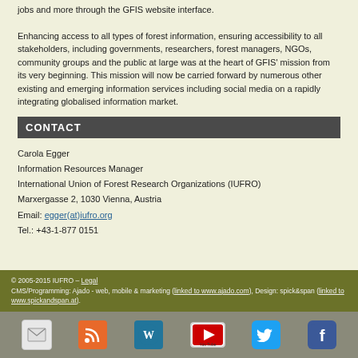jobs and more through the GFIS website interface.
Enhancing access to all types of forest information, ensuring accessibility to all stakeholders, including governments, researchers, forest managers, NGOs, community groups and the public at large was at the heart of GFIS' mission from its very beginning. This mission will now be carried forward by numerous other existing and emerging information services including social media on a rapidly integrating globalised information market.
CONTACT
Carola Egger
Information Resources Manager
International Union of Forest Research Organizations (IUFRO)
Marxergasse 2, 1030 Vienna, Austria
Email: egger(at)iufro.org
Tel.: +43-1-877 0151
© 2005-2015 IUFRO – Legal
CMS/Programming: Ajado - web, mobile & marketing (linked to www.ajado.com), Design: spick&span (linked to www.spickandspan.at).
[Figure (infographic): Social media icons: email, RSS, WordPress, YouTube, Twitter, Facebook]